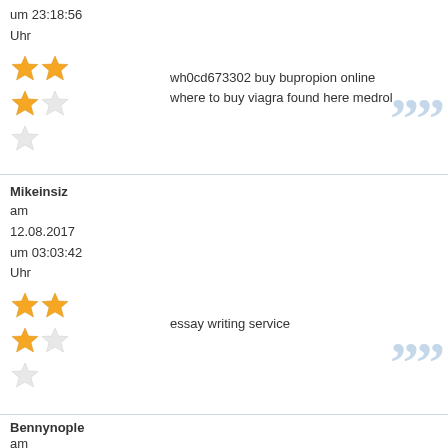um 23:18:56 Uhr
wh0cd673302 buy bupropion online where to buy viagra found here medrol
Mikeinsiz am 12.08.2017 um 03:03:42 Uhr
essay writing service
Bennynople am 10.08.2017 um 01:27:21 Uhr
wh0cd628445 diclofenac online